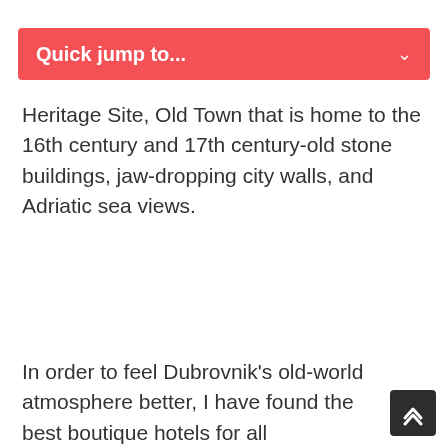Quick jump to...
Heritage Site, Old Town that is home to the 16th century and 17th century-old stone buildings, jaw-dropping city walls, and Adriatic sea views.
In order to feel Dubrovnik's old-world atmosphere better, I have found the best boutique hotels for all